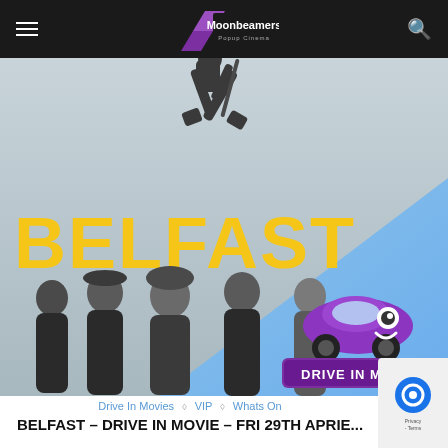Moonbeamers Popup Cinema
[Figure (photo): Movie poster for Belfast (2021) showing a jumping child in black and white, group of people including family, yellow BELFAST text, and a Drive In Movie logo with purple car on blue triangle background]
Drive In Movies ◇ VIP ◇ Whats On
BELFAST – DRIVE IN MOVIE – FRI 29TH APRIE…